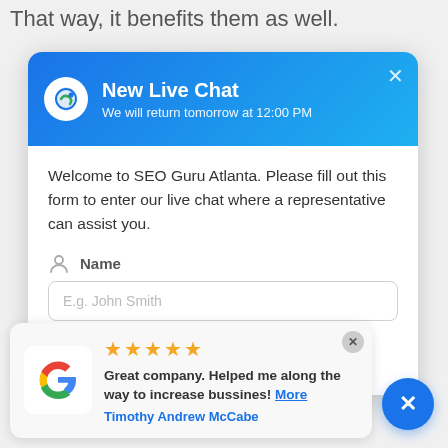That way, it benefits them as well.
[Figure (screenshot): Live chat widget popup for SEO Guru Atlanta. Blue gradient header with logo, title 'New Live Chat', subtitle 'We will return tomorrow at 12:00 PM', close X button. Body contains welcome text, Name field with placeholder 'E.g. John Smith', partial email field, and 'Powered by WooSender' footer.]
[Figure (screenshot): Google review widget at bottom of page showing 5 gold stars, review text 'Great company. Helped me along the way to increase bussines! More', reviewer name 'Timothy Andrew McCabe', Google logo on left, close X circle top right, blue X button bottom right.]